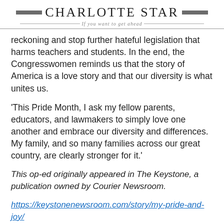Charlotte Star — If you want to get ahead
reckoning and stop further hateful legislation that harms teachers and students. In the end, the Congresswomen reminds us that the story of America is a love story and that our diversity is what unites us.
'This Pride Month, I ask my fellow parents, educators, and lawmakers to simply love one another and embrace our diversity and differences. My family, and so many families across our great country, are clearly stronger for it.'
This op-ed originally appeared in The Keystone, a publication owned by Courier Newsroom.
https://keystonenewsroom.com/story/my-pride-and-joy/